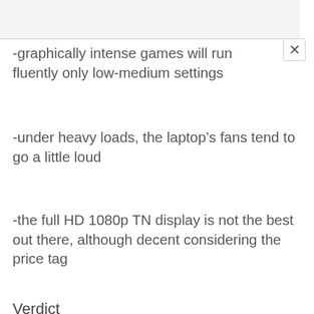-graphically intense games will run fluently only low-medium settings
-under heavy loads, the laptop’s fans tend to go a little loud
-the full HD 1080p TN display is not the best out there, although decent considering the price tag
Verdict
The Dell Inspiron 5000 i5576-A298BLK-PUS offers great value for money as an entry level gaming